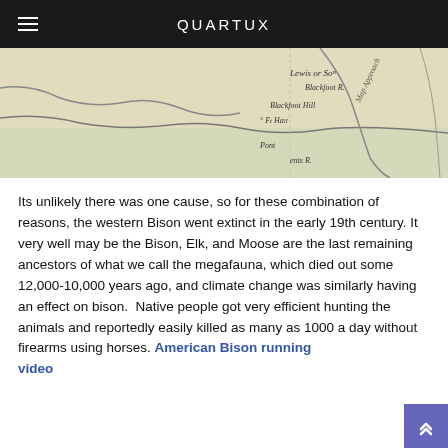QUARTUX
[Figure (map): Antique hand-drawn map fragment showing rivers, hills and forts including Lewis or So[uth], Blackfoot R., Blackfoot Hill, Ft. Ha[ll], and Pont[...] R.]
Its unlikely there was one cause, so for these combination of reasons, the western Bison went extinct in the early 19th century. It very well may be the Bison, Elk, and Moose are the last remaining ancestors of what we call the megafauna, which died out some 12,000-10,000 years ago, and climate change was similarly having an effect on bison.  Native people got very efficient hunting the animals and reportedly easily killed as many as 1000 a day without firearms using horses. American Bison running video